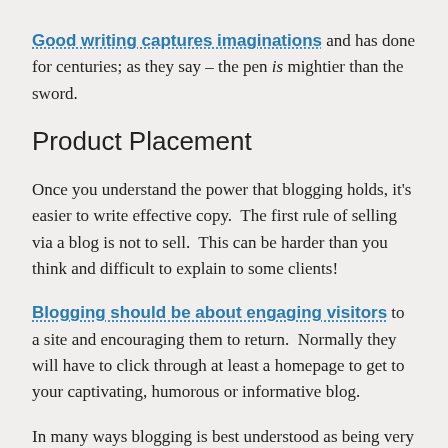Good writing captures imaginations and has done for centuries; as they say – the pen is mightier than the sword.
Product Placement
Once you understand the power that blogging holds, it's easier to write effective copy.  The first rule of selling via a blog is not to sell.  This can be harder than you think and difficult to explain to some clients!
Blogging should be about engaging visitors to a site and encouraging them to return.  Normally they will have to click through at least a homepage to get to your captivating, humorous or informative blog.
In many ways blogging is best understood as being very similar to 'product placement' on TV,